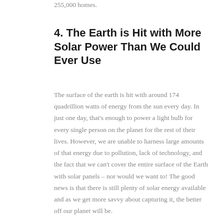255,000 homes.
4. The Earth is Hit with More Solar Power Than We Could Ever Use
The surface of the earth is hit with around 174 quadrillion watts of energy from the sun every day. In just one day, that's enough to power a light bulb for every single person on the planet for the rest of their lives. However, we are unable to harness large amounts of that energy due to pollution, lack of technology, and the fact that we can't cover the entire surface of the Earth with solar panels – nor would we want to! The good news is that there is still plenty of solar energy available and as we get more savvy about capturing it, the better off our planet will be.